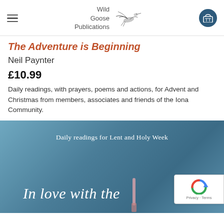Wild Goose Publications
The Adventure is Beginning
Neil Paynter
£10.99
Daily readings, with prayers, poems and actions, for Advent and Christmas from members, associates and friends of the Iona Community.
[Figure (photo): Book cover with blue background showing text 'Daily readings for Lent and Holy Week' at top and 'In love with the' in italic script at bottom, with a hand holding a pen visible.]